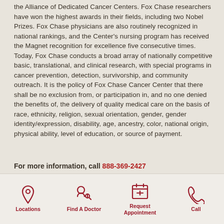the Alliance of Dedicated Cancer Centers. Fox Chase researchers have won the highest awards in their fields, including two Nobel Prizes. Fox Chase physicians are also routinely recognized in national rankings, and the Center's nursing program has received the Magnet recognition for excellence five consecutive times. Today, Fox Chase conducts a broad array of nationally competitive basic, translational, and clinical research, with special programs in cancer prevention, detection, survivorship, and community outreach. It is the policy of Fox Chase Cancer Center that there shall be no exclusion from, or participation in, and no one denied the benefits of, the delivery of quality medical care on the basis of race, ethnicity, religion, sexual orientation, gender, gender identity/expression, disability, age, ancestry, color, national origin, physical ability, level of education, or source of payment.
For more information, call 888-369-2427
Locations | Find A Doctor | Request Appointment | Call